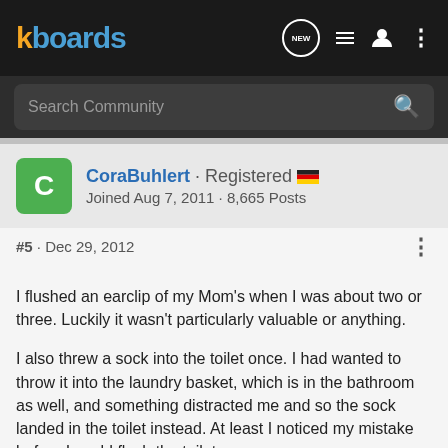kboards
Search Community
CoraBuhlert · Registered 🇩🇪
Joined Aug 7, 2011 · 8,665 Posts
#5 · Dec 29, 2012
I flushed an earclip of my Mom's when I was about two or three. Luckily it wasn't particularly valuable or anything.

I also threw a sock into the toilet once. I had wanted to throw it into the laundry basket, which is in the bathroom as well, and something distracted me and so the sock landed in the toilet instead. At least I noticed my mistake before I could flush the toilet.